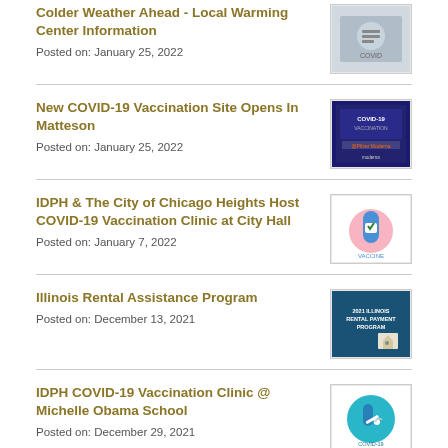Colder Weather Ahead - Local Warming Center Information
Posted on: January 25, 2022
New COVID-19 Vaccination Site Opens In Matteson
Posted on: January 25, 2022
IDPH & The City of Chicago Heights Host COVID-19 Vaccination Clinic at City Hall
Posted on: January 7, 2022
Illinois Rental Assistance Program
Posted on: December 13, 2021
IDPH COVID-19 Vaccination Clinic @ Michelle Obama School
Posted on: December 29, 2021
Community Outreach Vaccine Event